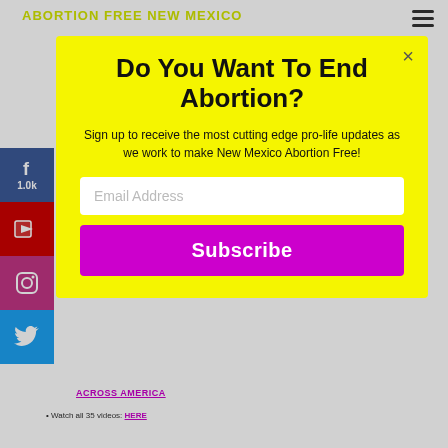ABORTION FREE NEW MEXICO
[Figure (screenshot): Modal popup on website with yellow background containing subscription form]
Do You Want To End Abortion?
Sign up to receive the most cutting edge pro-life updates as we work to make New Mexico Abortion Free!
Email Address
Subscribe
ACROSS AMERICA
Watch all 35 videos: HERE